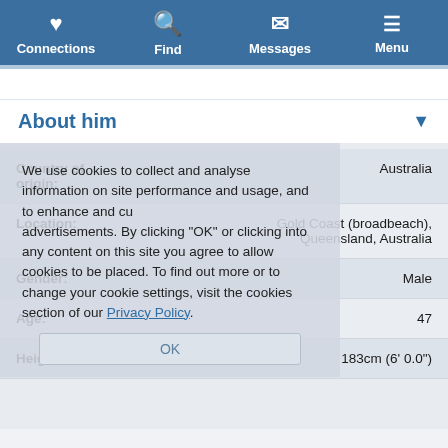Connections | Find | Messages | Menu
About him
| Field | Value |
| --- | --- |
| Country of origin: | Australia |
| Location: | Gold Coast (broadbeach), Queensland, Australia |
| Gender: | Male |
| Age: | 47 |
| Height: | 183cm (6' 0.0") |
We use cookies to collect and analyse information on site performance and usage, and to enhance and customise content and advertisements. By clicking "OK" or clicking into any content on this site you agree to allow cookies to be placed. To find out more or to change your cookie settings, visit the cookies section of our Privacy Policy.